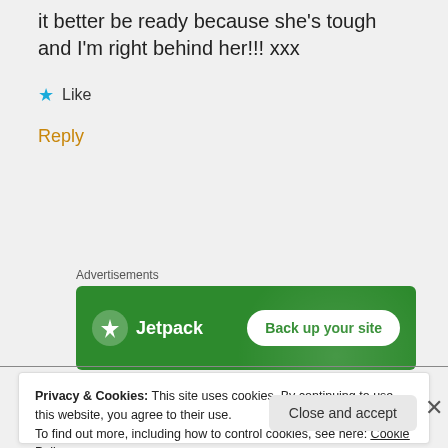it better be ready because she's tough and I'm right behind her!!! xxx
Like
Reply
Advertisements
[Figure (screenshot): Jetpack advertisement banner with green background showing Jetpack logo and 'Back up your site' button]
Privacy & Cookies: This site uses cookies. By continuing to use this website, you agree to their use. To find out more, including how to control cookies, see here: Cookie Policy
Close and accept